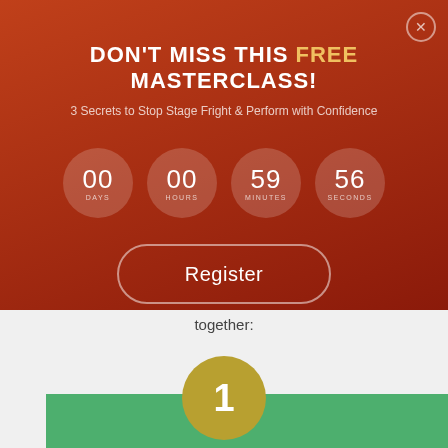DON'T MISS THIS FREE MASTERCLASS!
3 Secrets to Stop Stage Fright & Perform with Confidence
00 DAYS  00 HOURS  59 MINUTES  56 SECONDS
Register
together:
1
Part 1: Mast...